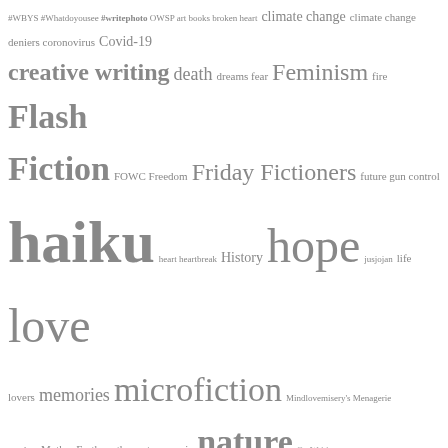[Figure (infographic): A tag cloud showing blog/writing categories with varying font sizes indicating frequency. Tags include: #WBYS #Whatdoyousee #writephoto OWSP art books broken heart climate change climate change deniers coronovirus Covid-19 creative writing death dreams fear Feminism fire Flash Fiction FOWC Freedom Friday Fictioners future gun control haiku heart heartbreak History hope jusjojan life love lovers memories microfiction Mindlovemisery's Menagerie monkey Mother Earth mother nature music nature On Writing peace People of St Pete Photo Challenge photo inspiration photo prompt poem poetry politics Pure Haiku Putting My Feet in the Dirt resistance Ronovan Writes Haiku Challenge Sammi Scribbles senryu SoCS Spring sunrise tanka time Travel Twittering Tales vote What Do You See women's rights Word of the Day word prompt WOTD writing Writing Prompt]